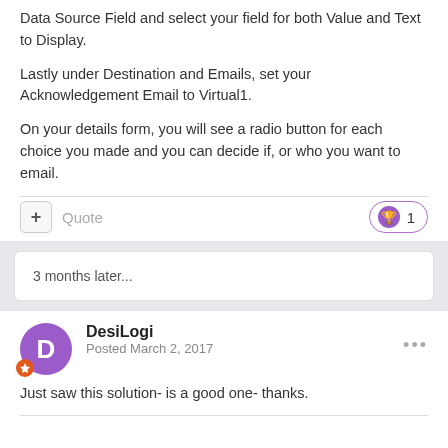Data Source Field and select your field for both Value and Text to Display.
Lastly under Destination and Emails, set your Acknowledgement Email to Virtual1.
On your details form, you will see a radio button for each choice you made and you can decide if, or who you want to email.
3 months later...
DesiLogi
Posted March 2, 2017
Just saw this solution- is a good one- thanks.